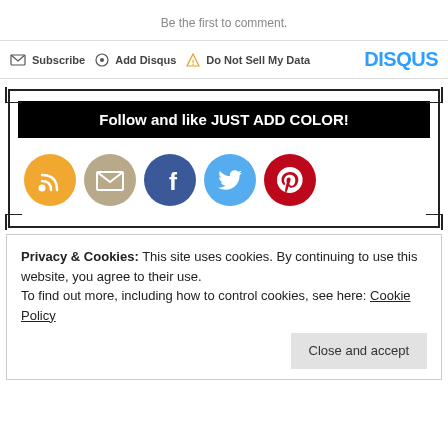Be the first to comment.
Subscribe  Add Disqus  Do Not Sell My Data    DISQUS
[Figure (infographic): Black banner reading 'Follow and like JUST ADD COLOR!' with social media icons below: RSS (orange), Email (tan/beige), Facebook (blue), Twitter (light blue), Pinterest (red)]
Privacy & Cookies: This site uses cookies. By continuing to use this website, you agree to their use. To find out more, including how to control cookies, see here: Cookie Policy
Close and accept